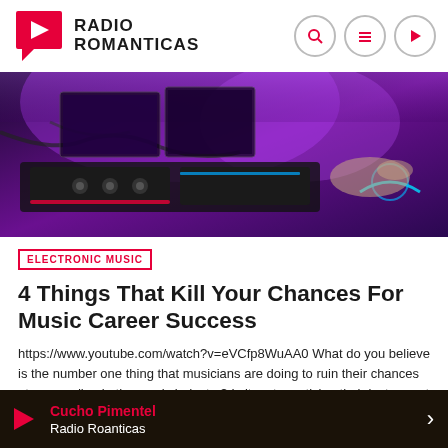Radio Romanticas
[Figure (photo): DJ equipment with purple/magenta lighting, hands on mixing deck]
ELECTRONIC MUSIC
4 Things That Kill Your Chances For Music Career Success
https://www.youtube.com/watch?v=eVCfp8WuAA0 What do you believe is the number one thing that musicians are doing to ruin their chances at succeeding in the music industry? Is it: not practicing their instrument enough? Not putting together enough good music industry connections? Living in a city with no music scene? The answer to all of this is NO - none of these things. There
Cucho Pimentel | Radio Roanticas